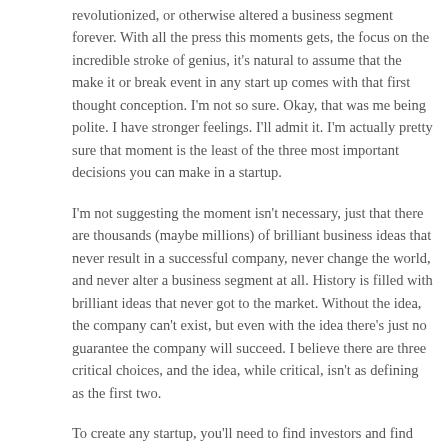revolutionized, or otherwise altered a business segment forever. With all the press this moments gets, the focus on the incredible stroke of genius, it's natural to assume that the make it or break event in any start up comes with that first thought conception. I'm not so sure. Okay, that was me being polite. I have stronger feelings. I'll admit it. I'm actually pretty sure that moment is the least of the three most important decisions you can make in a startup.
I'm not suggesting the moment isn't necessary, just that there are thousands (maybe millions) of brilliant business ideas that never result in a successful company, never change the world, and never alter a business segment at all. History is filled with brilliant ideas that never got to the market. Without the idea, the company can't exist, but even with the idea there's just no guarantee the company will succeed. I believe there are three critical choices, and the idea, while critical, isn't as defining as the first two.
To create any startup, you'll need to find investors and find partners. You're stuck with those two decisions. A concept will (and should) adjust as market and production realities impact decision-making. If you have the wrong investors or the wrong partners, the brilliant dream becomes a nightmare. If you secure too little capital or too few human resources, the brilliant dream